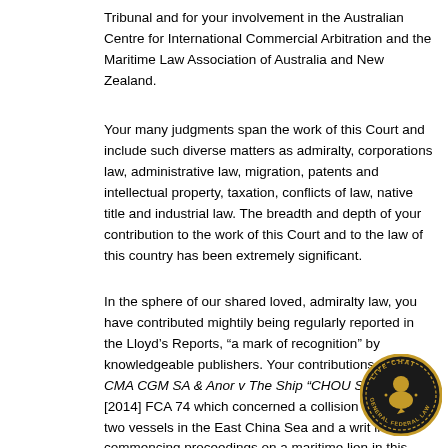Tribunal and for your involvement in the Australian Centre for International Commercial Arbitration and the Maritime Law Association of Australia and New Zealand.
Your many judgments span the work of this Court and include such diverse matters as admiralty, corporations law, administrative law, migration, patents and intellectual property, taxation, conflicts of law, native title and industrial law. The breadth and depth of your contribution to the work of this Court and to the law of this country has been extremely significant.
In the sphere of our shared loved, admiralty law, you have contributed mightily being regularly reported in the Lloyd’s Reports, “a mark of recognition” by knowledgeable publishers. Your contributions include CMA CGM SA & Anor v The Ship “CHOU SHAN” [2014] FCA 74 which concerned a collision between two vessels in the East China Sea and a writ in rem commencing proceedings on a maritime lien in this Court. In a careful and thorough judgment, you examined the competing evidence, the relevant lex causae and connecting factors and determined the accumulation of these factors led to the conclusion this court was clearly inappropriate and Chinese courts, which you
[Figure (logo): Live Chat - General Federal Law circular badge with gold border, dark background, and a chat/person icon in the center]